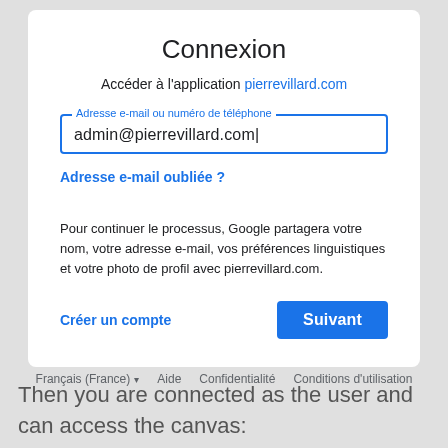Connexion
Accéder à l'application pierrevillard.com
[Figure (screenshot): Google sign-in form with email input field containing 'admin@pierrevillard.com', a 'Adresse e-mail oubliée ?' link, info text about Google sharing user data, and action buttons 'Créer un compte' and 'Suivant']
Adresse e-mail oubliée ?
Pour continuer le processus, Google partagera votre nom, votre adresse e-mail, vos préférences linguistiques et votre photo de profil avec pierrevillard.com.
Français (France) ▾   Aide   Confidentialité   Conditions d'utilisation
Then you are connected as the user and can access the canvas: